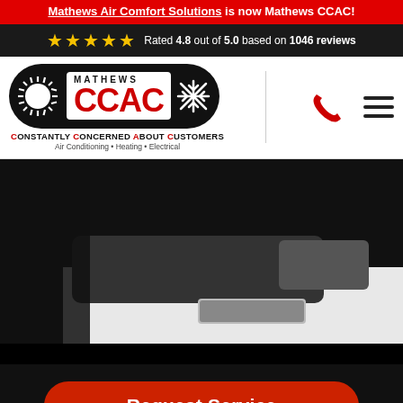Mathews Air Comfort Solutions is now Mathews CCAC!
Rated 4.8 out of 5.0 based on 1046 reviews
[Figure (logo): Mathews CCAC logo with sun and snowflake icons on black pill-shaped background, taglines: CONSTANTLY CONCERNED ABOUT CUSTOMERS, Air Conditioning • Heating • Electrical]
[Figure (photo): Close-up black and white photo of a white service van with Mathews CCAC logo decal on the hood]
Request Service